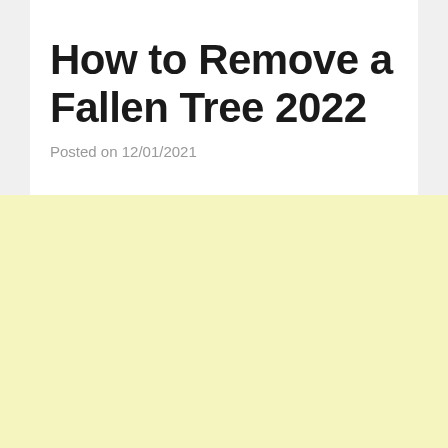How to Remove a Fallen Tree 2022
Posted on 12/01/2021